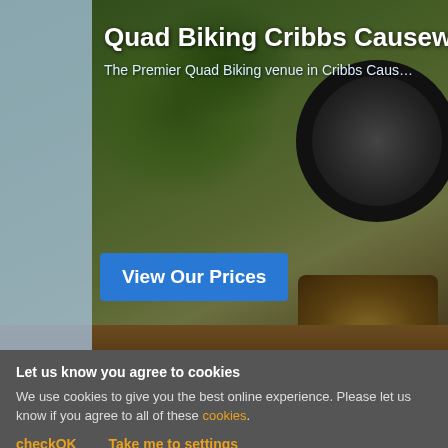[Figure (screenshot): Hero banner with quad bike/tires on muddy forest trail background]
Quad Biking Cribbs Causewa…
The Premier Quad Biking venue in Cribbs Caus…
View Our Prices
ABOUT
Read More
LOCATIO…
Welcome to the premier Quad Biking venue in Cribbs Causeway & South West England.
[Figure (map): Map showing Wild Pla... Temp... location]
Let us know you agree to cookies
We use cookies to give you the best online experience. Please let us know if you agree to all of these cookies.
checkOK   Take me to settings